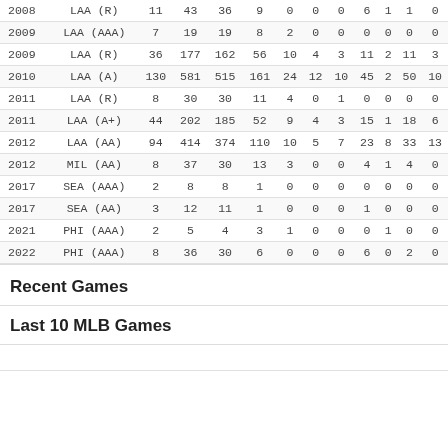| Year | Team | G | PA | AB | H | 2B | 3B | HR | RBI | SB | BB | K |
| --- | --- | --- | --- | --- | --- | --- | --- | --- | --- | --- | --- | --- |
| 2008 | LAA (R) | 11 | 43 | 36 | 9 | 0 | 0 | 0 | 6 | 1 | 1 | 0 |
| 2009 | LAA (AAA) | 7 | 19 | 19 | 8 | 2 | 0 | 0 | 0 | 0 | 0 | 0 |
| 2009 | LAA (R) | 36 | 177 | 162 | 56 | 10 | 4 | 3 | 11 | 2 | 11 | 3 |
| 2010 | LAA (A) | 130 | 581 | 515 | 161 | 24 | 12 | 10 | 45 | 2 | 50 | 10 |
| 2011 | LAA (R) | 8 | 30 | 30 | 11 | 4 | 0 | 1 | 0 | 0 | 0 | 0 |
| 2011 | LAA (A+) | 44 | 202 | 185 | 52 | 9 | 4 | 3 | 15 | 1 | 18 | 6 |
| 2012 | LAA (AA) | 94 | 414 | 374 | 110 | 10 | 5 | 7 | 23 | 8 | 33 | 13 |
| 2012 | MIL (AA) | 8 | 37 | 30 | 13 | 3 | 0 | 0 | 4 | 1 | 4 | 0 |
| 2017 | SEA (AAA) | 2 | 8 | 8 | 1 | 0 | 0 | 0 | 0 | 0 | 0 | 0 |
| 2017 | SEA (AA) | 3 | 12 | 11 | 1 | 0 | 0 | 0 | 1 | 0 | 0 | 0 |
| 2021 | PHI (AAA) | 2 | 5 | 4 | 3 | 1 | 0 | 0 | 0 | 1 | 0 | 0 |
| 2022 | PHI (AAA) | 8 | 36 | 30 | 6 | 0 | 0 | 0 | 6 | 0 | 2 | 0 |
Recent Games
Last 10 MLB Games